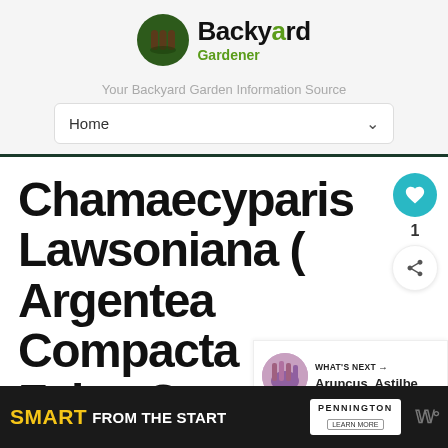[Figure (logo): Backyard Gardener logo with green circle icon and green/black text]
Your Backyard Garden Information Source
Home
Chamaecyparis Lawsoniana ( Argentea Compacta False Cy... )
WHAT'S NEXT → Aruncus, Astilbe,...
[Figure (infographic): Ad banner: SMART FROM THE START - Pennington LEARN MORE]